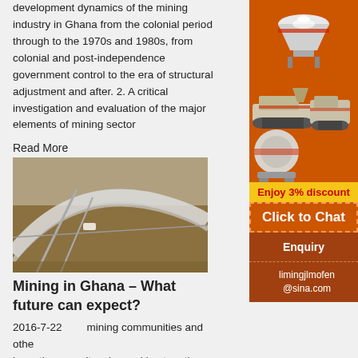development dynamics of the mining industry in Ghana from the colonial period through to the 1970s and 1980s, from colonial and post-independence government control to the era of structural adjustment and after. 2. A critical investigation and evaluation of the major elements of mining sector
Read More
[Figure (photo): Aerial or elevated view of mining infrastructure, conveyor belts and structures at a mine site]
Mining in Ghana – What future can expect?
2016-7-22    mining communities and other... have the capacity – by working together – to make a solid, global mining industry that will contribute... economy and the society. In the decade since... has been an important part of Ghana's macroeconomic economy. For with media at a rising for all...
[Figure (infographic): Orange sidebar advertisement showing mining equipment (crushers, mobile units), Enjoy 3% discount banner, Click to Chat button, Enquiry section, and limingjlmofen@sina.com email contact]